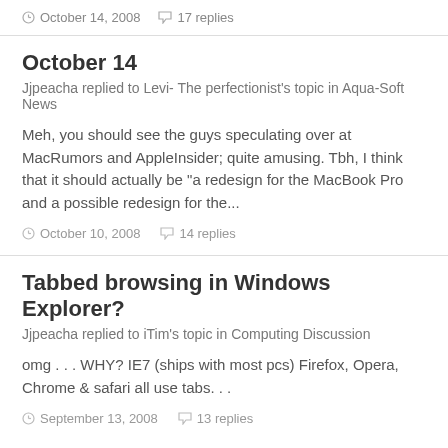October 14, 2008   17 replies
October 14
Jjpeacha replied to Levi- The perfectionist's topic in Aqua-Soft News
Meh, you should see the guys speculating over at MacRumors and AppleInsider; quite amusing. Tbh, I think that it should actually be "a redesign for the MacBook Pro and a possible redesign for the...
October 10, 2008   14 replies
Tabbed browsing in Windows Explorer?
Jjpeacha replied to iTim's topic in Computing Discussion
omg . . . WHY? IE7 (ships with most pcs) Firefox, Opera, Chrome & safari all use tabs. . .
September 13, 2008   13 replies